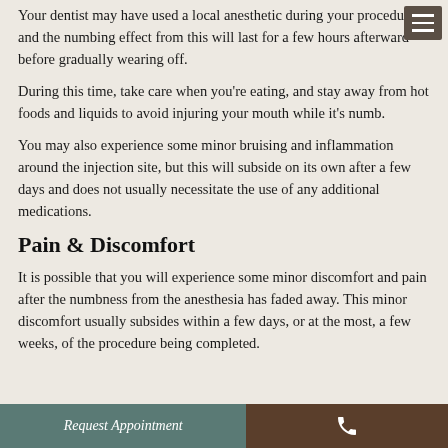Your dentist may have used a local anesthetic during your procedure, and the numbing effect from this will last for a few hours afterward before gradually wearing off.
During this time, take care when you're eating, and stay away from hot foods and liquids to avoid injuring your mouth while it's numb.
You may also experience some minor bruising and inflammation around the injection site, but this will subside on its own after a few days and does not usually necessitate the use of any additional medications.
Pain & Discomfort
It is possible that you will experience some minor discomfort and pain after the numbness from the anesthesia has faded away. This minor discomfort usually subsides within a few days, or at the most, a few weeks, of the procedure being completed.
Request Appointment | phone